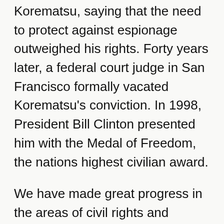Korematsu, saying that the need to protect against espionage outweighed his rights. Forty years later, a federal court judge in San Francisco formally vacated Korematsu's conviction. In 1998, President Bill Clinton presented him with the Medal of Freedom, the nations highest civilian award.
We have made great progress in the areas of civil rights and equality, but we are constantly challenged to uphold these ideals, said the bill's co-author, Mary Hayashi (D-Hayward). When these trials come, we are able to be inspired by the courage of people like Korematsu.
Korematsu's daughter, Karen Korematsu-Haigh, of San Rafael, said in an e-mail message that she was proud to hear of the